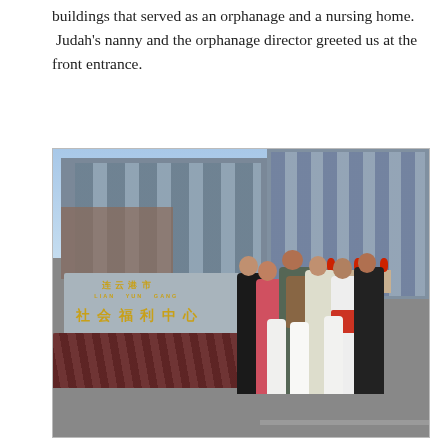buildings that served as an orphanage and a nursing home. Judah's nanny and the orphanage director greeted us at the front entrance.
[Figure (photo): A group of people posing in front of the Lian Yun Gang Social Welfare Center sign. Large modern buildings are visible in the background. A stone sign displays Chinese characters and 'LIAN YUN GANG SOCIAL WELFARE CENTER' in English. Red shrubs line the front of the sign. Several adults and children stand in front of the sign.]